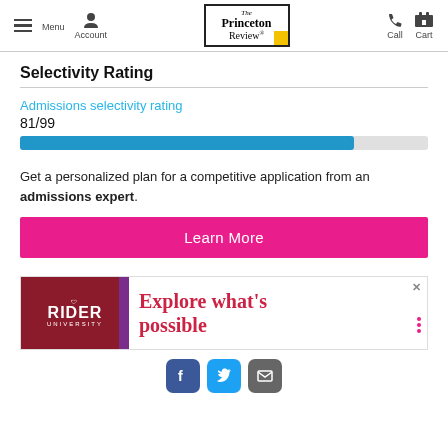Menu | Account | The Princeton Review | Call | Cart
Selectivity Rating
Admissions selectivity rating
81/99
[Figure (bar-chart): Admissions selectivity rating]
Get a personalized plan for a competitive application from an admissions expert.
Learn More
[Figure (advertisement): Rider University advertisement with text 'Explore what's possible']
Facebook | Twitter | Email